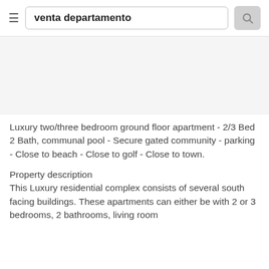venta departamento
[Figure (photo): Image area placeholder (light gray background, property photo)]
Luxury two/three bedroom ground floor apartment - 2/3 Bed 2 Bath, communal pool - Secure gated community - parking - Close to beach - Close to golf - Close to town.
Property description
This Luxury residential complex consists of several south facing buildings. These apartments can either be with 2 or 3 bedrooms, 2 bathrooms, living room